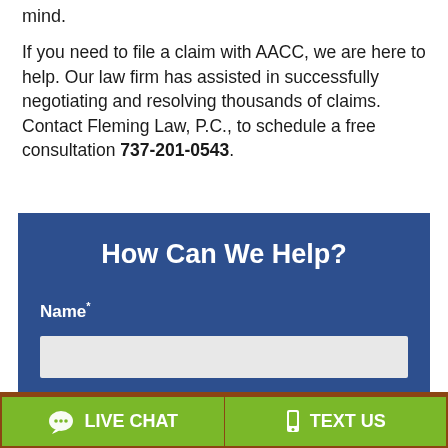mind.
If you need to file a claim with AACC, we are here to help. Our law firm has assisted in successfully negotiating and resolving thousands of claims. Contact Fleming Law, P.C., to schedule a free consultation 737-201-0543.
How Can We Help?
Name*
[Figure (other): Contact form input field for Name]
LIVE CHAT | TEXT US